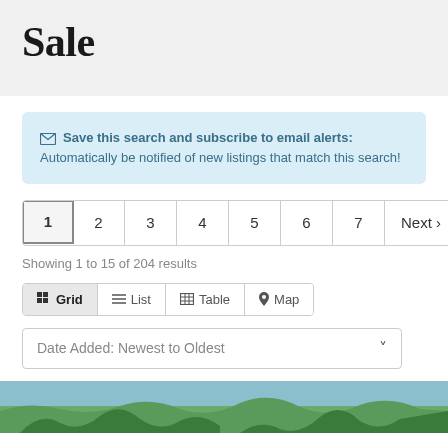Sale
Save this search and subscribe to email alerts: Automatically be notified of new listings that match this search!
1 2 3 4 5 6 7 Next >
Showing 1 to 15 of 204 results
Grid List Table Map
Date Added: Newest to Oldest
[Figure (photo): Partial photo strip of a landscape/property photo with trees and sky visible at bottom of page]